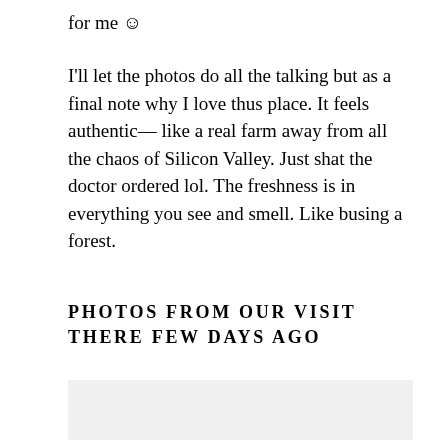for me ☺
I'll let the photos do all the talking but as a final note why I love thus place. It feels authentic— like a real farm away from all the chaos of Silicon Valley. Just shat the doctor ordered lol. The freshness is in everything you see and smell. Like busing a forest.
PHOTOS FROM OUR VISIT THERE FEW DAYS AGO
[Figure (photo): Photo area, light gray background placeholder at bottom of page]